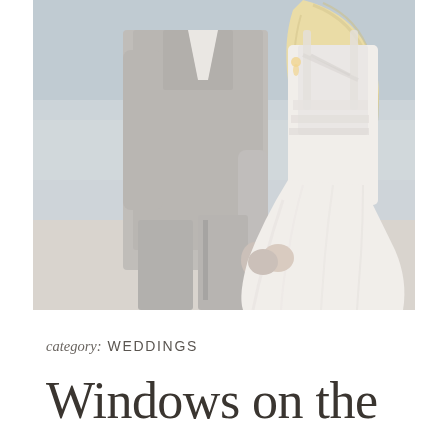[Figure (photo): A bride and groom standing on a beach, photographed from behind. The groom wears a light grey suit, and the bride wears a white lace backless wedding gown with spaghetti straps. The bride has long wavy blonde hair. They are holding hands.]
category:  WEDDINGS
Windows on the